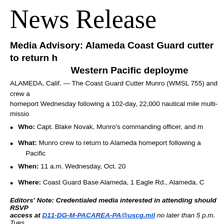News Release
Media Advisory: Alameda Coast Guard cutter to return home after Western Pacific deployment
ALAMEDA, Calif. — The Coast Guard Cutter Munro (WMSL 755) and crew are returning to homeport Wednesday following a 102-day, 22,000 nautical mile multi-mission deployment.
Who: Capt. Blake Novak, Munro's commanding officer, and members of the crew.
What: Munro crew to return to Alameda homeport following a deployment in the Western Pacific
When: 11 a.m. Wednesday, Oct. 20
Where: Coast Guard Base Alameda, 1 Eagle Rd., Alameda, CA
Editors' Note: Credentialed media interested in attending should RSVP for media access at D11-DG-M-PACAREA-PA@uscg.mil no later than 5 p.m. Tuesday.